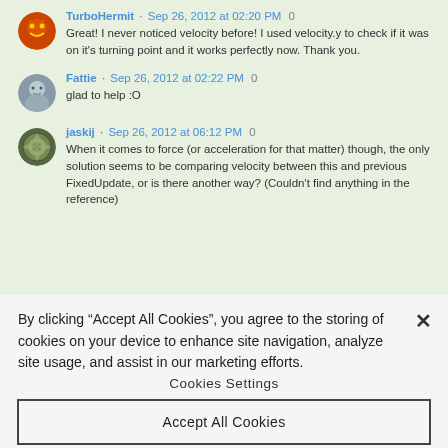TurboHermit · Sep 26, 2012 at 02:20 PM 0
Great! I never noticed velocity before! I used velocity.y to check if it was on it's turning point and it works perfectly now. Thank you.
Fattie · Sep 26, 2012 at 02:22 PM 0
glad to help :O
jaskij · Sep 26, 2012 at 06:12 PM 0
When it comes to force (or acceleration for that matter) though, the only solution seems to be comparing velocity between this and previous FixedUpdate, or is there another way? (Couldn't find anything in the reference)
By clicking "Accept All Cookies", you agree to the storing of cookies on your device to enhance site navigation, analyze site usage, and assist in our marketing efforts.
Cookies Settings
Accept All Cookies